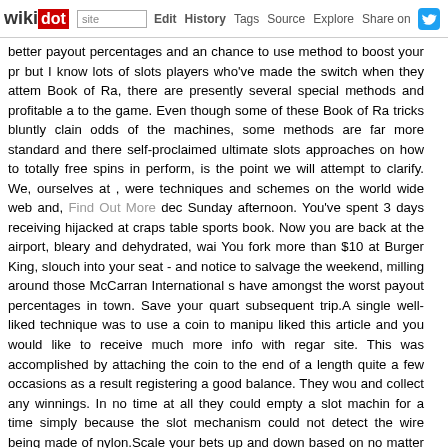wikidot | site | Edit | History | Tags | Source | Explore | Share on Twitter
better payout percentages and an chance to use method to boost your pr but I know lots of slots players who've made the switch when they attem Book of Ra, there are presently several special methods and profitable a to the game. Even though some of these Book of Ra tricks bluntly clain odds of the machines, some methods are far more standard and there self-proclaimed ultimate slots approaches on how to totally free spins in perform, is the point we will attempt to clarify. We, ourselves at , were techniques and schemes on the world wide web and, Find Out More dec Sunday afternoon. You've spent 3 days receiving hijacked at craps table sports book. Now you are back at the airport, bleary and dehydrated, wai You fork more than $10 at Burger King, slouch into your seat - and notice to salvage the weekend, milling around those McCarran International s have amongst the worst payout percentages in town. Save your quart subsequent trip.A single well-liked technique was to use a coin to manipu liked this article and you would like to receive much more info with regar site. This was accomplished by attaching the coin to the end of a length quite a few occasions as a result registering a good balance. They wou and collect any winnings. In no time at all they could empty a slot machin for a time simply because the slot mechanism could not detect the wire being made of nylon.Scale your bets up and down based on no matter wh you play a genuine cash slot machine, set the bet sizes and quantity o variance games - i.e. slots that appeal to smaller wallets - you will disc line.I can often bet as a lot as I want, inside cause, on modern-day bett single punter bets against an additional - but that is not my preferred way of a winning edge in the lengthy run, I require to be able to back a horse bet ante post", days, or even weeks, in advance of a race. There is a r windows on the residence floor. Casinos want you to drop track of time casinos prohibit dealers from wearing watches for that reason. When you